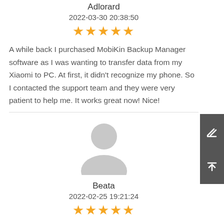Adlorard
2022-03-30 20:38:50
[Figure (other): 5 gold stars rating]
A while back I purchased MobiKin Backup Manager software as I was wanting to transfer data from my Xiaomi to PC. At first, it didn't recognize my phone. So I contacted the support team and they were very patient to help me. It works great now! Nice!
[Figure (illustration): Default grey avatar silhouette]
Beata
2022-02-25 19:21:24
[Figure (other): 5 gold stars rating]
Quick and efficient soloution to my issue.